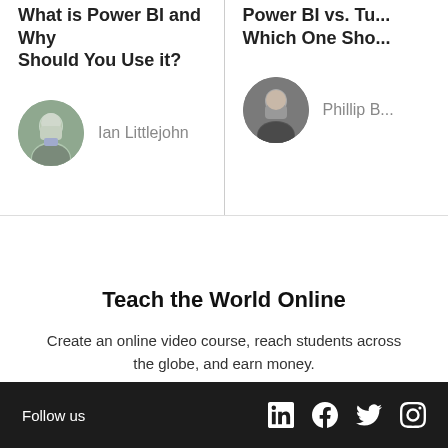What is Power BI and Why Should You Use it?
Ian Littlejohn
Power BI vs. Ta... Which One Sho...
Phillip B...
Teach the World Online
Create an online video course, reach students across the globe, and earn money.
Teach on Udemy
Follow us